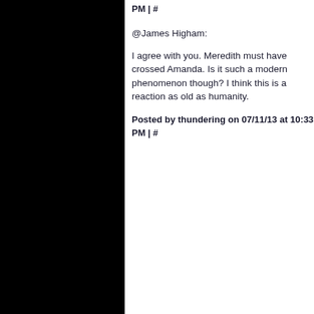PM | #
@James Higham:
I agree with you. Meredith must have crossed Amanda. Is it such a modern phenomenon though? I think this is a reaction as old as humanity.
Posted by thundering on 07/11/13 at 10:33 PM | #